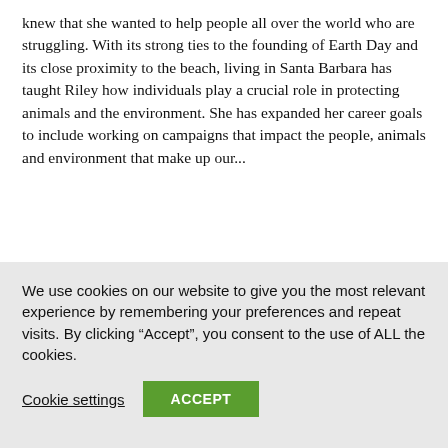knew that she wanted to help people all over the world who are struggling. With its strong ties to the founding of Earth Day and its close proximity to the beach, living in Santa Barbara has taught Riley how individuals play a crucial role in protecting animals and the environment. She has expanded her career goals to include working on campaigns that impact the people, animals and environment that make up our...
We use cookies on our website to give you the most relevant experience by remembering your preferences and repeat visits. By clicking “Accept”, you consent to the use of ALL the cookies.
Cookie settings | ACCEPT